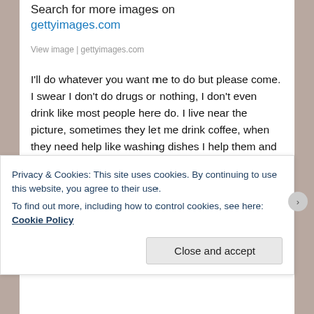Search for more images on
gettyimages.com
View image | gettyimages.com
I'll do whatever you want me to do but please come. I swear I don't do drugs or nothing, I don't even drink like most people here do. I live near the picture, sometimes they let me drink coffee, when they need help like washing dishes I help them and they pay me in food.
The only thing I won't do is go home to them, our horrible parents, never will I do that. How could our parents expect us to live with them? They shouldn't have been allowed to
Privacy & Cookies: This site uses cookies. By continuing to use this website, you agree to their use.
To find out more, including how to control cookies, see here: Cookie Policy
Close and accept